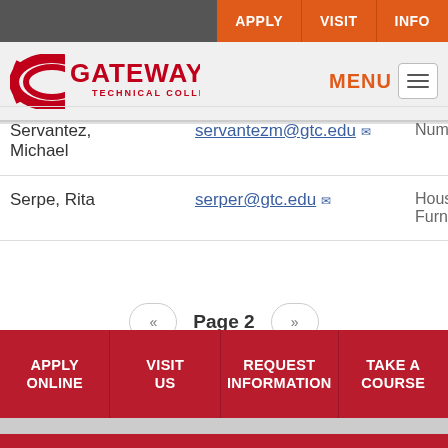[Figure (screenshot): Gateway Technical College website header with APPLY, VISIT, INFO navigation buttons and logo with MENU button]
| Name | Email | Department |
| --- | --- | --- |
| Servantez, Michael | servantezm@gtc.edu | Nume... |
| Serpe, Rita | serper@gtc.edu | Housing Furnis... |
« Page 2 »
APPLY ONLINE   VISIT US   REQUEST INFORMATION   TAKE A COURSE